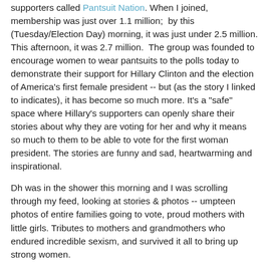supporters called Pantsuit Nation. When I joined, membership was just over 1.1 million;  by this (Tuesday/Election Day) morning, it was just under 2.5 million. This afternoon, it was 2.7 million.  The group was founded to encourage women to wear pantsuits to the polls today to demonstrate their support for Hillary Clinton and the election of America's first female president -- but (as the story I linked to indicates), it has become so much more. It's a "safe" space where Hillary's supporters can openly share their stories about why they are voting for her and why it means so much to them to be able to vote for the first woman president. The stories are funny and sad, heartwarming and inspirational.
Dh was in the shower this morning and I was scrolling through my feed, looking at stories & photos -- umpteen photos of entire families going to vote, proud mothers with little girls. Tributes to mothers and grandmothers who endured incredible sexism, and survived it all to bring up strong women.
My own American mother has been a staunch Republican most of her life. She and I are Donald Trump abstainers...